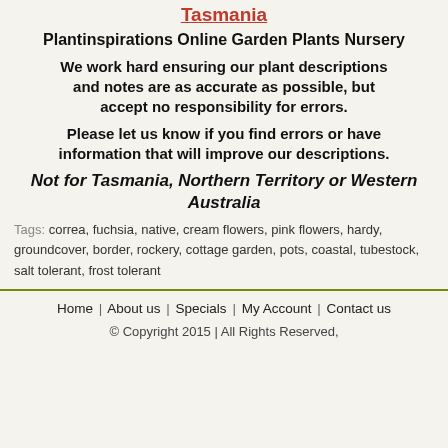Tasmania
Plantinspirations Online Garden Plants Nursery
We work hard ensuring our plant descriptions and notes are as accurate as possible, but accept no responsibility for errors.
Please let us know if you find errors or have information that will improve our descriptions.
Not for Tasmania, Northern Territory or Western Australia
Tags: correa, fuchsia, native, cream flowers, pink flowers, hardy, groundcover, border, rockery, cottage garden, pots, coastal, tubestock, salt tolerant, frost tolerant
Home | About us | Specials | My Account | Contact us
© Copyright 2015 | All Rights Reserved,